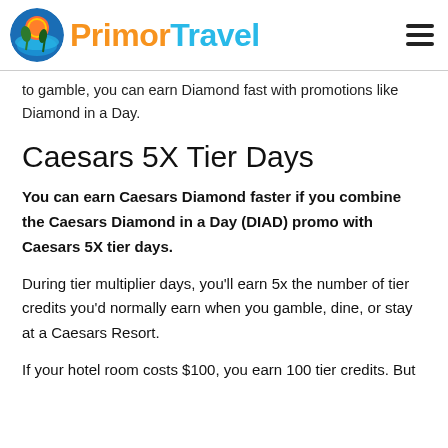PrimorTravel
to gamble, you can earn Diamond fast with promotions like Diamond in a Day.
Caesars 5X Tier Days
You can earn Caesars Diamond faster if you combine the Caesars Diamond in a Day (DIAD) promo with Caesars 5X tier days.
During tier multiplier days, you'll earn 5x the number of tier credits you'd normally earn when you gamble, dine, or stay at a Caesars Resort.
If your hotel room costs $100, you earn 100 tier credits. But